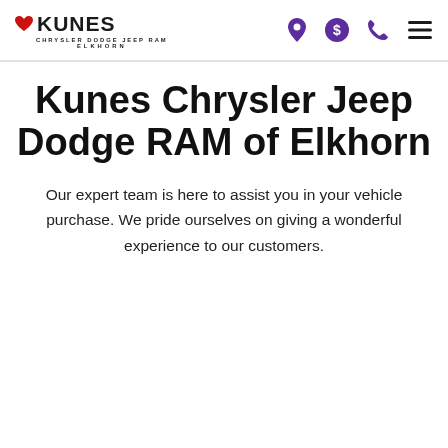Kunes Chrysler Dodge Jeep Ram Elkhorn — navigation header with logo and icons
Kunes Chrysler Jeep Dodge RAM of Elkhorn
Our expert team is here to assist you in your vehicle purchase. We pride ourselves on giving a wonderful experience to our customers.